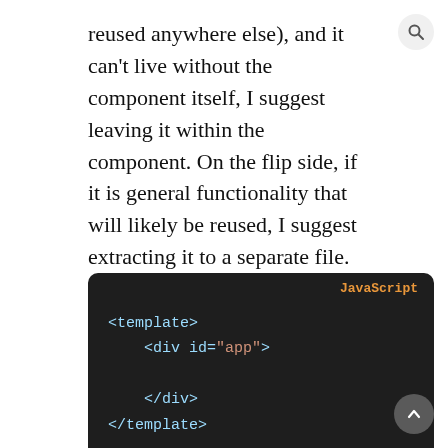reused anywhere else), and it can't live without the component itself, I suggest leaving it within the component. On the flip side, if it is general functionality that will likely be reused, I suggest extracting it to a separate file. However, if we want to keep it in a separate file, we need to remember to export the function from the file and import it in our component.
This is how our component will look like using newly created composition functions:
[Figure (screenshot): Dark code block labeled 'JavaScript' showing HTML template markup: <template>, <div id="app">, </div>, </template>]